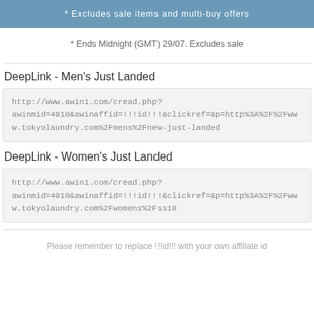* Excludes sale items and multi-buy offers
* Ends Midnight (GMT) 29/07. Excludes sale
DeepLink - Men's Just Landed
http://www.awin1.com/cread.php?awinmid=4910&awinaffid=!!!id!!!&clickref=&p=http%3A%2F%2Fwww.tokyolaundry.com%2Fmens%2Fnew-just-landed
DeepLink - Women's Just Landed
http://www.awin1.com/cread.php?awinmid=4910&awinaffid=!!!id!!!&clickref=&p=http%3A%2F%2Fwww.tokyolaundry.com%2Fwomens%2Fss18
Please remember to replace !!!id!!! with your own affiliate id